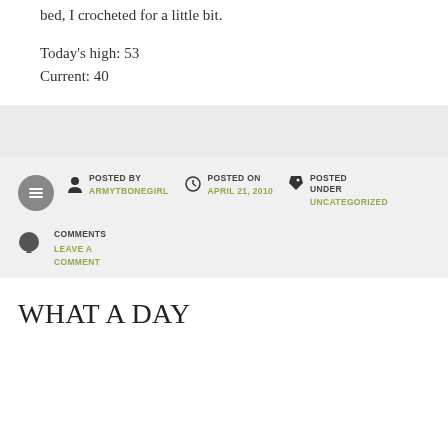bed, I crocheted for a little bit.
Today's high: 53
Current: 40
POSTED BY ARMYTBONEGIRL | POSTED ON APRIL 21, 2010 | POSTED UNDER UNCATEGORIZED
COMMENTS LEAVE A COMMENT
WHAT A DAY